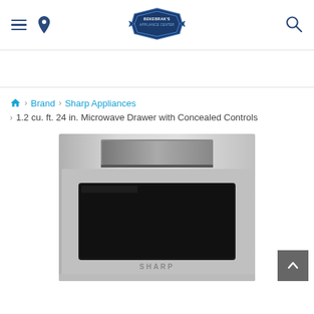Navigation header with hamburger menu, location pin, store logo, and search icon
[Figure (screenshot): Bekebrok's Appliance Center logo badge in blue]
Brand > Sharp Appliances > 1.2 cu. ft. 24 in. Microwave Drawer with Concealed Controls
[Figure (photo): Sharp microwave drawer product photo showing stainless steel unit with black glass window and concealed controls panel at top]